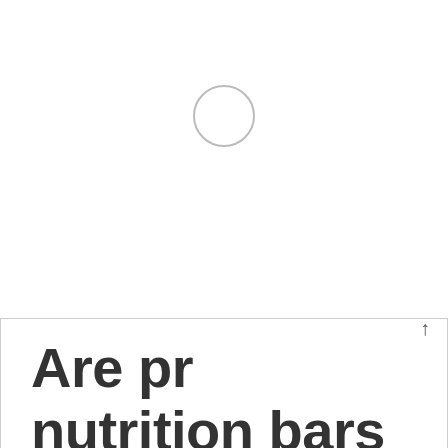[Figure (other): A circular hole or ring shape near the top center of the page, resembling a hang tag hole]
Are pr nutrition bars good or bad